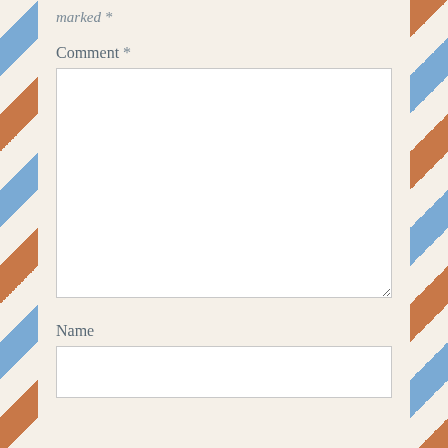marked *
Comment *
[Figure (screenshot): Empty comment textarea input field with resize handle]
Name
[Figure (screenshot): Empty name text input field]